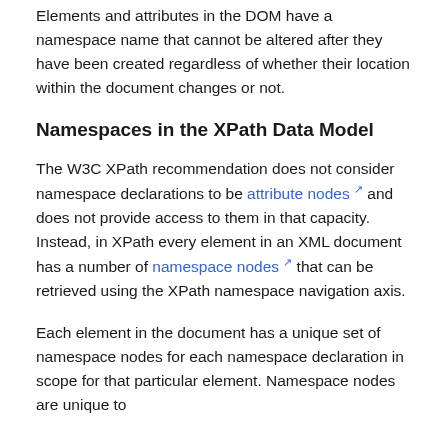Elements and attributes in the DOM have a namespace name that cannot be altered after they have been created regardless of whether their location within the document changes or not.
Namespaces in the XPath Data Model
The W3C XPath recommendation does not consider namespace declarations to be attribute nodes and does not provide access to them in that capacity. Instead, in XPath every element in an XML document has a number of namespace nodes that can be retrieved using the XPath namespace navigation axis.
Each element in the document has a unique set of namespace nodes for each namespace declaration in scope for that particular element. Namespace nodes are unique to